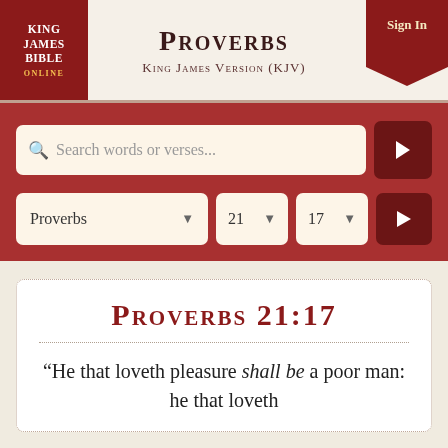KING JAMES BIBLE ONLINE | Proverbs | King James Version (KJV) | Sign In
Search words or verses...
Proverbs | 21 | 17
Proverbs 21:17
“He that loveth pleasure shall be a poor man: he that loveth